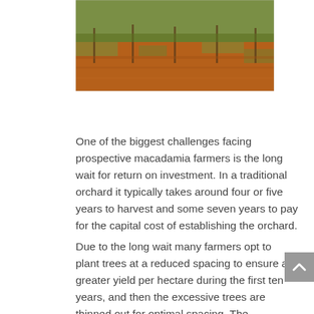[Figure (photo): Aerial or ground-level view of a macadamia orchard showing red/brown soil and sparse green vegetation with young trees.]
One of the biggest challenges facing prospective macadamia farmers is the long wait for return on investment. In a traditional orchard it typically takes around four or five years to harvest and some seven years to pay for the capital cost of establishing the orchard.
Due to the long wait many farmers opt to plant trees at a reduced spacing to ensure a greater yield per hectare during the first ten years, and then the excessive trees are thinned out for optimal spacing. The discarded trees usually end up as fire wood. But Shane Davies, a macadamia farmer in the Alkmaar area in Nelspruit has found a